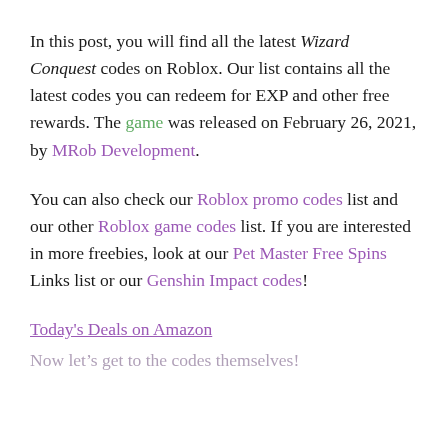In this post, you will find all the latest Wizard Conquest codes on Roblox. Our list contains all the latest codes you can redeem for EXP and other free rewards. The game was released on February 26, 2021, by MRob Development.
You can also check our Roblox promo codes list and our other Roblox game codes list. If you are interested in more freebies, look at our Pet Master Free Spins Links list or our Genshin Impact codes!
Today's Deals on Amazon
Now let's get to the codes themselves!